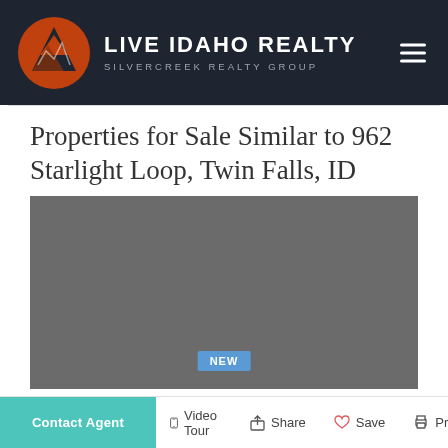[Figure (logo): Live Idaho Realty - Silvercreek Realty Group logo with dark background, orange mountain/sun icon and white text]
Properties for Sale Similar to 962 Starlight Loop, Twin Falls, ID
[Figure (photo): Gray placeholder image for property listing with NEW badge]
Contact Agent  Video Tour  Share  Save  Print